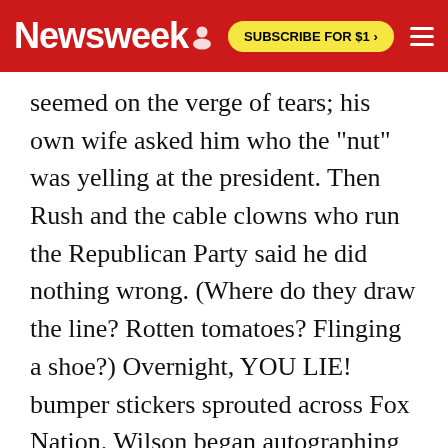Newsweek | SUBSCRIBE FOR $1 >
seemed on the verge of tears; his own wife asked him who the "nut" was yelling at the president. Then Rush and the cable clowns who run the Republican Party said he did nothing wrong. (Where do they draw the line? Rotten tomatoes? Flinging a shoe?) Overnight, YOU LIE! bumper stickers sprouted across Fox Nation. Wilson began autographing the photo of him heckling. He refused to apologize on the House floor, as Democrats had done in the past when acting like their party's mascot. It was only then, after trash-talking the president